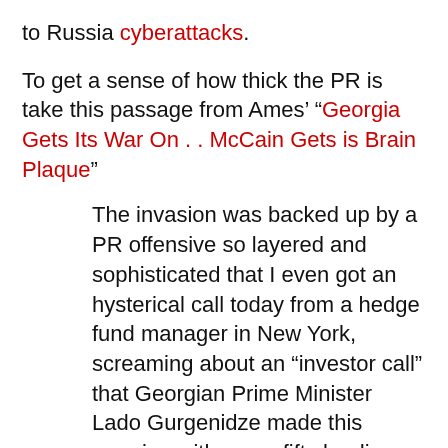to Russia cyberattacks.
To get a sense of how thick the PR is take this passage from Ames' “Georgia Gets Its War On . . McCain Gets is Brain Plaque”
The invasion was backed up by a PR offensive so layered and sophisticated that I even got an hysterical call today from a hedge fund manager in New York, screaming about an “investor call” that Georgian Prime Minister Lado Gurgenidze made this morning with some fifty leading Western investment bank managers and analysts. I’ve since seen a J.P. Morgan summary of